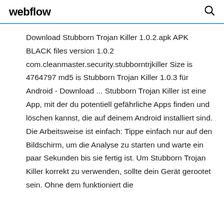webflow
Download Stubborn Trojan Killer 1.0.2.apk APK BLACK files version 1.0.2 com.cleanmaster.security.stubborntrjkiller Size is 4764797 md5 is Stubborn Trojan Killer 1.0.3 für Android - Download ... Stubborn Trojan Killer ist eine App, mit der du potentiell gefährliche Apps finden und löschen kannst, die auf deinem Android installiert sind. Die Arbeitsweise ist einfach: Tippe einfach nur auf den Bildschirm, um die Analyse zu starten und warte ein paar Sekunden bis sie fertig ist. Um Stubborn Trojan Killer korrekt zu verwenden, sollte dein Gerät gerootet sein. Ohne dem funktioniert die